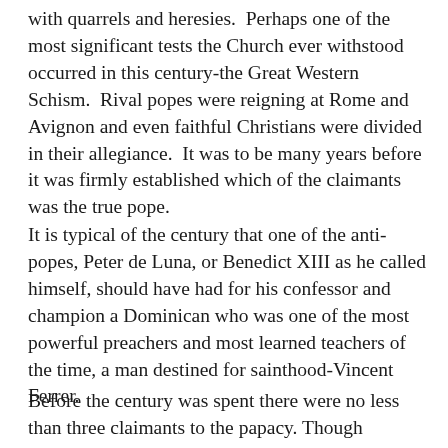with quarrels and heresies.  Perhaps one of the most significant tests the Church ever withstood occurred in this century-the Great Western Schism.  Rival popes were reigning at Rome and Avignon and even faithful Christians were divided in their allegiance.  It was to be many years before it was firmly established which of the claimants was the true pope.
It is typical of the century that one of the anti-popes, Peter de Luna, or Benedict XIII as he called himself, should have had for his confessor and champion a Dominican who was one of the most powerful preachers and most learned teachers of the time, a man destined for sainthood-Vincent Ferrer.
Before the century was spent there were no less than three claimants to the papacy. Though